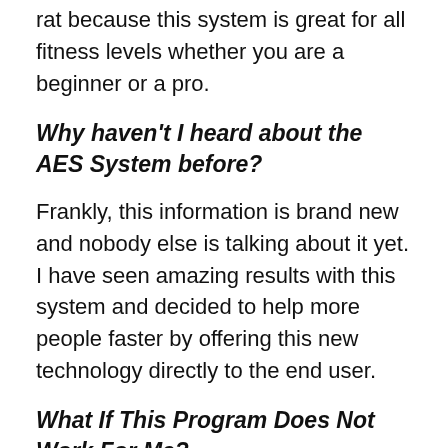rat because this system is great for all fitness levels whether you are a beginner or a pro.
Why haven't I heard about the AES System before?
Frankly, this information is brand new and nobody else is talking about it yet. I have seen amazing results with this system and decided to help more people faster by offering this new technology directly to the end user.
What If This Program Does Not Work For Me?